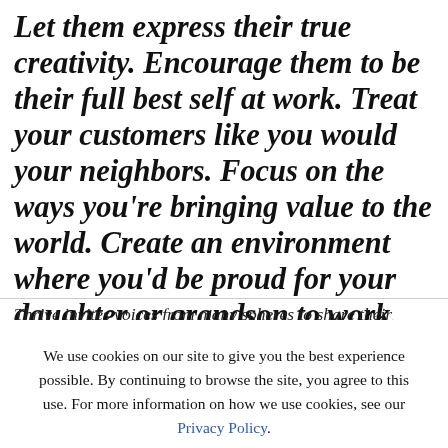Let them express their true creativity. Encourage them to be their full best self at work. Treat your customers like you would your neighbors. Focus on the ways you're bringing value to the world. Create an environment where you'd be proud for your daughter or grandson to work. As [...]
Thrive invites voices from many spheres to share their
We use cookies on our site to give you the best experience possible. By continuing to browse the site, you agree to this use. For more information on how we use cookies, see our Privacy Policy.
CONTINUE